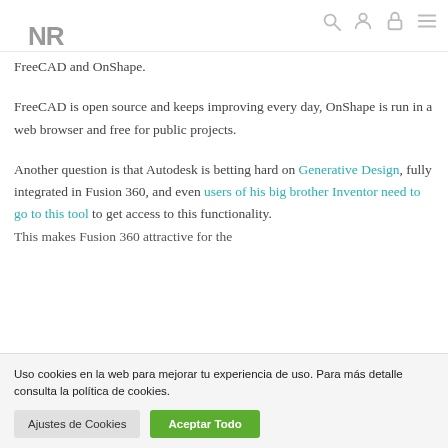NR [logo] [search icon] [user icon] [lock icon] [menu icon]
FreeCAD and OnShape.
FreeCAD is open source and keeps improving every day, OnShape is run in a web browser and free for public projects.
Another question is that Autodesk is betting hard on Generative Design, fully integrated in Fusion 360, and even users of his big brother Inventor need to go to this tool to get access to this functionality. This makes Fusion 360 attractive for the
Uso cookies en la web para mejorar tu experiencia de uso. Para más detalle consulta la política de cookies.
Ajustes de Cookies
Aceptar Todo